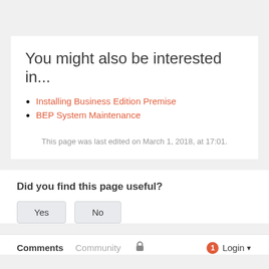You might also be interested in...
Installing Business Edition Premise
BEP System Maintenance
This page was last edited on March 1, 2018, at 17:01.
Did you find this page useful?
Yes   No
Comments   Community   [lock icon]   1   Login